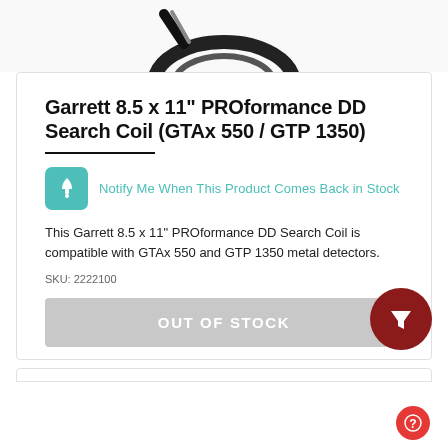[Figure (photo): Partial view of a Garrett DD Search Coil product image at top of page]
Garrett 8.5 x 11" PROformance DD Search Coil (GTAx 550 / GTP 1350)
Notify Me When This Product Comes Back in Stock
This Garrett 8.5 x 11" PROformance DD Search Coil is compatible with GTAx 550 and GTP 1350 metal detectors.
SKU: 2222100
OUT OF STOCK